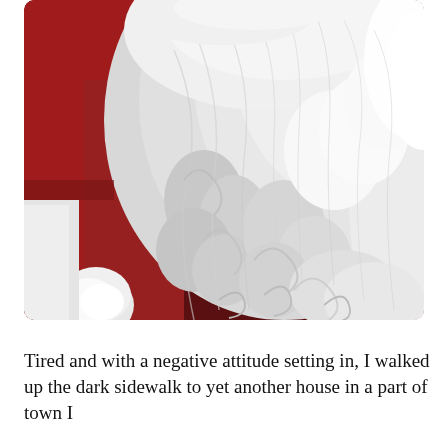[Figure (photo): Close-up photograph of a person dressed as Santa Claus, showing a large white curly beard and red velvet suit with white trim. The image is cropped tightly showing mainly the beard, with the red suit visible on the left side.]
Tired and with a negative attitude setting in, I walked up the dark sidewalk to yet another house in a part of town I wasn't too familiar with...